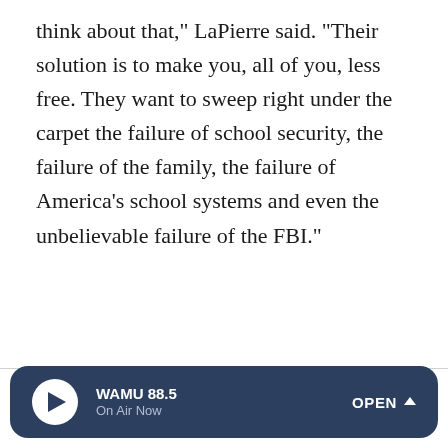think about that," LaPierre said. "Their solution is to make you, all of you, less free. They want to sweep right under the carpet the failure of school security, the failure of the family, the failure of America's school systems and even the unbelievable failure of the FBI."
Sponsor Message
WAMU 88.5 On Air Now OPEN